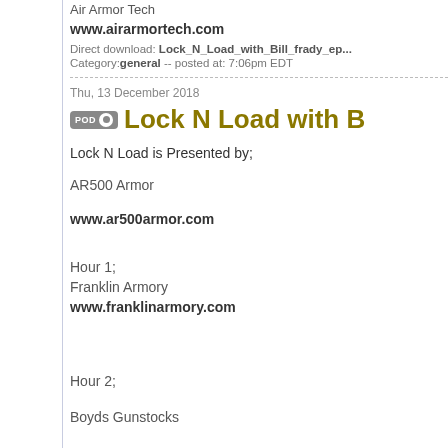Air Armor Tech
www.airarmortech.com
Direct download: Lock_N_Load_with_Bill_frady_ep...
Category: general -- posted at: 7:06pm EDT
Thu, 13 December 2018
Lock N Load with B...
Lock N Load is Presented by;
AR500 Armor
www.ar500armor.com
Hour 1;
Franklin Armory
www.franklinarmory.com
Hour 2;
Boyds Gunstocks